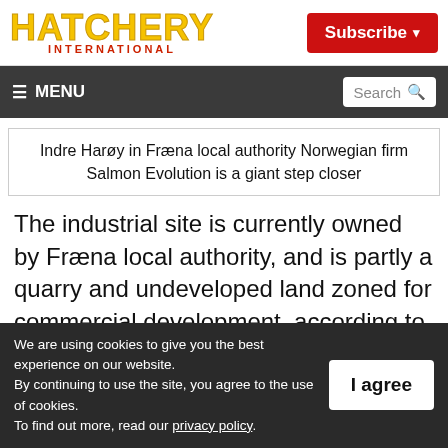HATCHERY INTERNATIONAL
Indre Harøy in Fræna local authority Norwegian firm Salmon Evolution is a giant step closer
The industrial site is currently owned by Fræna local authority, and is partly a quarry and undeveloped land zoned for commercial development, according to Salmon Evolution.
We are using cookies to give you the best experience on our website. By continuing to use the site, you agree to the use of cookies. To find out more, read our privacy policy.